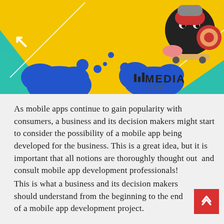[Figure (illustration): Colorful banner illustration with yellow background, teal diamond shape, blue blob shapes, and a cartoon black cat/creature riding a skateboard. 'MEDIA group' logo in lower right corner.]
As mobile apps continue to gain popularity with consumers, a business and its decision makers might start to consider the possibility of a mobile app being developed for the business. This is a great idea, but it is important that all notions are thoroughly thought out  and consult mobile app development professionals!
This is what a business and its decision makers should understand from the beginning to the end of a mobile app development project.